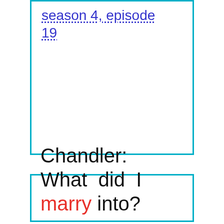season 4, episode 19
Chandler: What did I marry into?